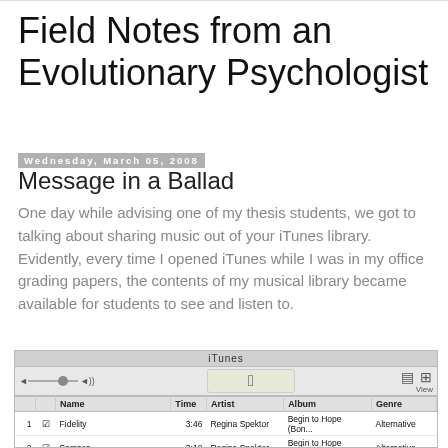Field Notes from an Evolutionary Psychologist
Wednesday, March 05, 2008
Message in a Ballad
One day while advising one of my thesis students, we got to talking about sharing music out of your iTunes library. Evidently, every time I opened iTunes while I was in my office grading papers, the contents of my musical library became available for students to see and listen to.
[Figure (screenshot): iTunes application screenshot showing a music library with columns: Name, Time, Artist, Album, Genre. Rows: 1 Fidelity 3:46 Regina Spektor Begin to Hope (Bon... Alternative; 2 Samson 3:10 Regina Spektor Begin to Hope (Bon... Alternative; 3 Aicha 4:20 Khaled Sahra Arab; 4 Le Juge Ment 4:03 Foy-Foy & Kwal Festival in the Dese... Mali; 5 Mohammed's Radio 3:43 Warren Zevon The Best Of Warren... Rock]